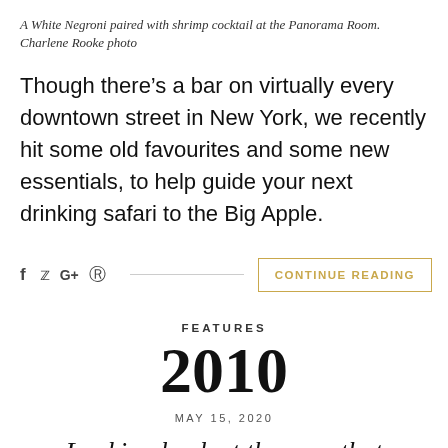A White Negroni paired with shrimp cocktail at the Panorama Room. Charlene Rooke photo
Though there’s a bar on virtually every downtown street in New York, we recently hit some old favourites and some new essentials, to help guide your next drinking safari to the Big Apple.
f  🐦  G+  📌  ——————————————  CONTINUE READING
FEATURES
2010
MAY 15, 2020
Looking back at the year that changed Vancouver’s cocktail culture